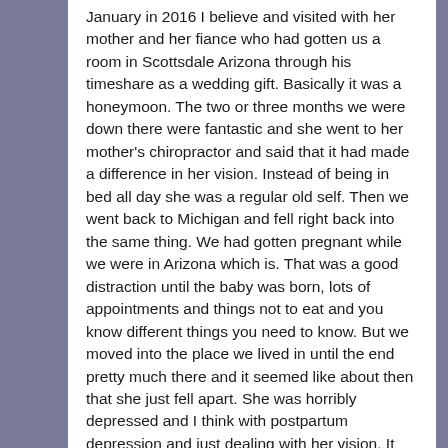January in 2016 I believe and visited with her mother and her fiance who had gotten us a room in Scottsdale Arizona through his timeshare as a wedding gift. Basically it was a honeymoon. The two or three months we were down there were fantastic and she went to her mother's chiropractor and said that it had made a difference in her vision. Instead of being in bed all day she was a regular old self. Then we went back to Michigan and fell right back into the same thing. We had gotten pregnant while we were in Arizona which is. That was a good distraction until the baby was born, lots of appointments and things not to eat and you know different things you need to know. But we moved into the place we lived in until the end pretty much there and it seemed like about then that she just fell apart. She was horribly depressed and I think with postpartum depression and just dealing with her vision. It got worse and worse, she would just burst into tears and collapse on the floor very suddenly